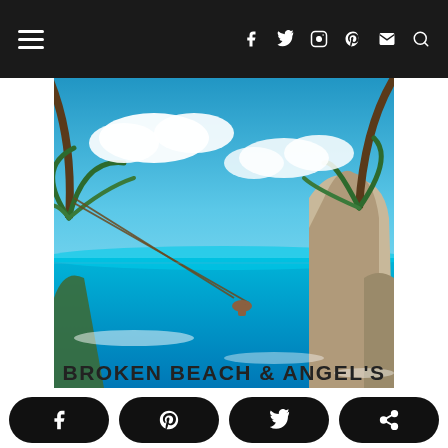Navigation bar with hamburger menu and social icons (Facebook, Twitter, Instagram, Pinterest, Mail, Search)
[Figure (photo): A tropical beach scene at Nusa Penida, Bali — vivid turquoise ocean, dramatic limestone rock formations, palm trees framing the top, white clouds in blue sky, and a person on a rope swing over the cliff edge]
BROKEN BEACH & ANGEL'S
Social share buttons: Facebook, Pinterest, Twitter, Share